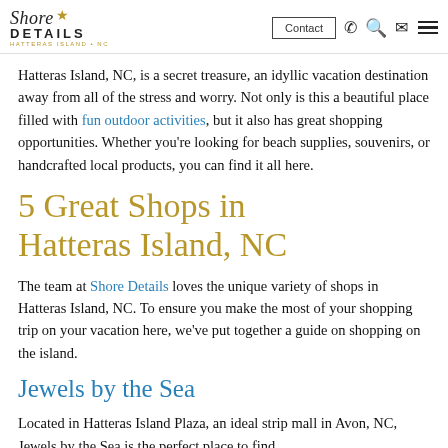Shore Details — Hatteras Island, NC | Contact
Hatteras Island, NC, is a secret treasure, an idyllic vacation destination away from all of the stress and worry. Not only is this a beautiful place filled with fun outdoor activities, but it also has great shopping opportunities. Whether you're looking for beach supplies, souvenirs, or handcrafted local products, you can find it all here.
5 Great Shops in Hatteras Island, NC
The team at Shore Details loves the unique variety of shops in Hatteras Island, NC. To ensure you make the most of your shopping trip on your vacation here, we've put together a guide on shopping on the island.
Jewels by the Sea
Located in Hatteras Island Plaza, an ideal strip mall in Avon, NC, Jewels by the Sea is the perfect place to find